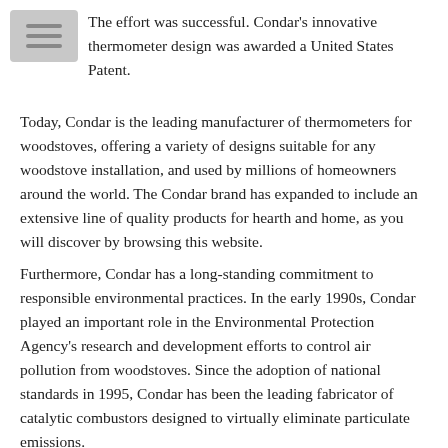The effort was successful. Condar's innovative thermometer design was awarded a United States Patent.
Today, Condar is the leading manufacturer of thermometers for woodstoves, offering a variety of designs suitable for any woodstove installation, and used by millions of homeowners around the world. The Condar brand has expanded to include an extensive line of quality products for hearth and home, as you will discover by browsing this website.
Furthermore, Condar has a long-standing commitment to responsible environmental practices. In the early 1990s, Condar played an important role in the Environmental Protection Agency's research and development efforts to control air pollution from woodstoves. Since the adoption of national standards in 1995, Condar has been the leading fabricator of catalytic combustors designed to virtually eliminate particulate emissions.